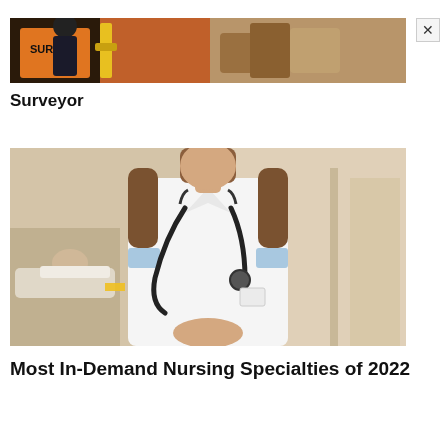[Figure (photo): Advertisement banner showing a surveyor in orange vest near surveying equipment and a rock/soil sample, with an X close button on the right]
Surveyor
[Figure (photo): A nurse or healthcare worker in white uniform with blue trim and a stethoscope around the neck, standing in a hospital hallway with a patient bed visible in the background]
Most In-Demand Nursing Specialties of 2022